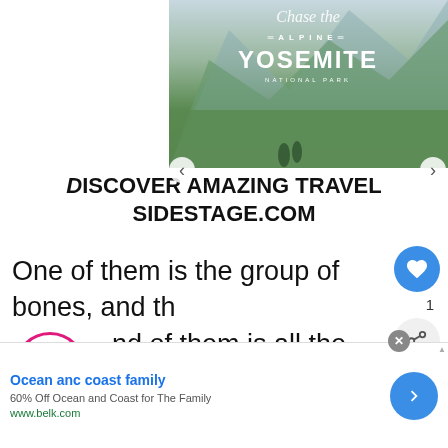[Figure (photo): Advertisement banner showing Yosemite National Park with text 'Chase the ALPINE YOSEMITE NATIONAL PARK', carousel navigation arrows, and 'DISCOVER AMAZING TRAVEL SIDESTAGE.COM' text below]
One of them is the group of bones, and the second of them is all the exterior structure protecting the internal organs.
[Figure (other): Advertisement for Ocean and coast family: '60% Off Ocean and Coast for The Family' from www.belk.com with navigation arrow button]